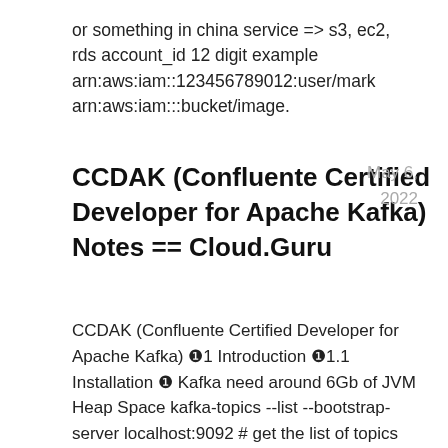or something in china service => s3, ec2, rds account_id 12 digit example arn:aws:iam::123456789012:user/mark arn:aws:iam:::bucket/image.
CCDAK (Confluente Certified Developer for Apache Kafka) Notes == Cloud.Guru
May 6, 2022
CCDAK (Confluente Certified Developer for Apache Kafka) ❶1 Introduction ❶1.1 Installation ❶ Kafka need around 6Gb of JVM Heap Space kafka-topics --list --bootstrap-server localhost:9092 # get the list of topics 1.2 What is Kafka ❶What is: publish and subscribe to streams of data records store the records in a fault-tolerant and scalable fashion Process streams of records in real-team Kafka can be used to: messaging